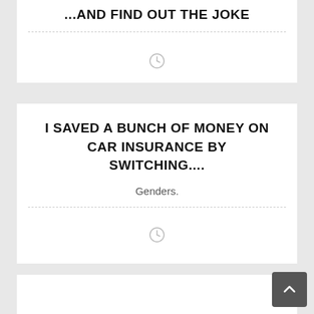I SAVED A BUNCH OF MONEY ON CAR INSURANCE BY SWITCHING....
Genders.
[Figure (other): Clock/time icon placeholder]